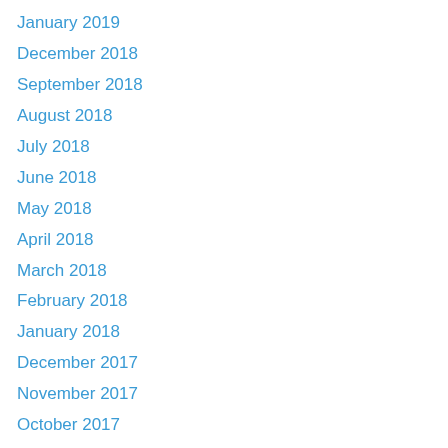January 2019
December 2018
September 2018
August 2018
July 2018
June 2018
May 2018
April 2018
March 2018
February 2018
January 2018
December 2017
November 2017
October 2017
September 2017
July 2017
June 2017
May 2017
April 2017
March 2017